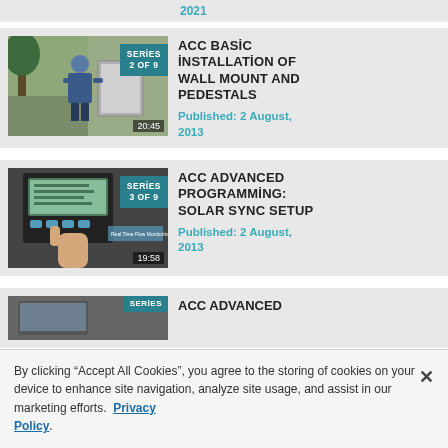2021
[Figure (screenshot): Video thumbnail showing a man working at an outdoor electrical panel, with a teal SERIES 2 OF 9 badge overlay and duration 20:45]
ACC BASIC INSTALLATION OF WALL MOUNT AND PEDESTALS
Published: 2 August, 2013
[Figure (screenshot): Video thumbnail showing a close-up of an irrigation controller display with a hand pressing buttons, with a teal SERIES 3 OF 9 badge overlay and duration 19:58]
ACC ADVANCED PROGRAMMING: SOLAR SYNC SETUP
Published: 2 August, 2013
[Figure (screenshot): Partial video thumbnail partially visible at the bottom of the page with SERIES badge]
ACC ADVANCED
By clicking “Accept All Cookies”, you agree to the storing of cookies on your device to enhance site navigation, analyze site usage, and assist in our marketing efforts.  Privacy Policy